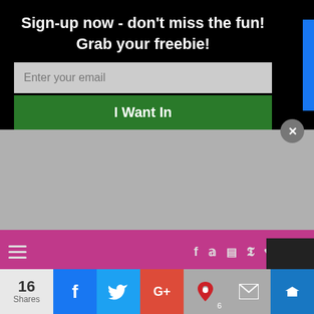Sign-up now - don't miss the fun! Grab your freebie!
Enter your email
I Want In
[Figure (screenshot): Pink navigation bar with hamburger menu on left and social media icons (Facebook, Twitter, Instagram, Pinterest, heart/Bloglovin, YouTube, search) on right]
LIFE HINTS
September 2, 2016 at 7:32 pm
Love your post !!!
It would mean the world if you checked out my blog and commented at
[Figure (screenshot): Bottom social share bar with 16 Shares count, Facebook, Twitter, Google+, Pinterest (6), email, and crown icon buttons]